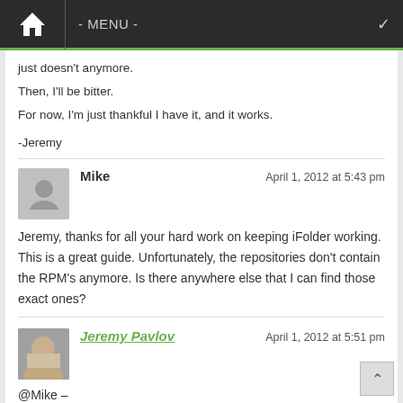- MENU -
just doesn't anymore.
Then, I'll be bitter.
For now, I'm just thankful I have it, and it works.

-Jeremy
Mike — April 1, 2012 at 5:43 pm
Jeremy, thanks for all your hard work on keeping iFolder working. This is a great guide. Unfortunately, the repositories don't contain the RPM's anymore. Is there anywhere else that I can find those exact ones?
Jeremy Pavlov — April 1, 2012 at 5:51 pm
@Mike –
Wow, that was fast. Yeah, I have 'em, and I'll put them up